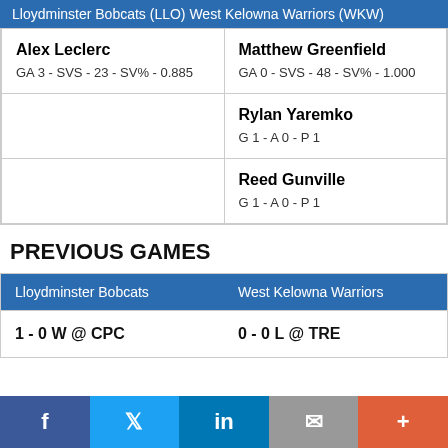Lloydminster Bobcats (LLO) West Kelowna Warriors (WKW)
| LLO Player | WKW Player |
| --- | --- |
| Alex Leclerc
GA 3 - SVS - 23 - SV% - 0.885 | Matthew Greenfield
GA 0 - SVS - 48 - SV% - 1.000 |
|  | Rylan Yaremko
G 1 - A 0 - P 1 |
|  | Reed Gunville
G 1 - A 0 - P 1 |
PREVIOUS GAMES
| Lloydminster Bobcats | West Kelowna Warriors |
| --- | --- |
| 1 - 0 W @ CPC | 0 - 0 L @ TRE |